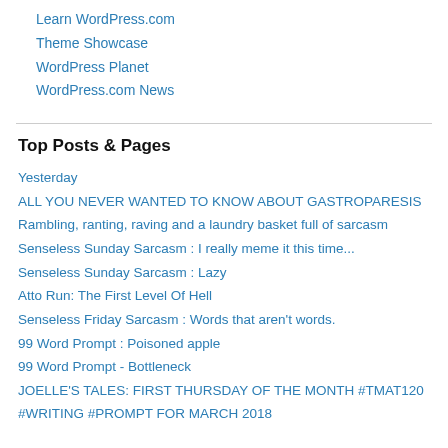Learn WordPress.com
Theme Showcase
WordPress Planet
WordPress.com News
Top Posts & Pages
Yesterday
ALL YOU NEVER WANTED TO KNOW ABOUT GASTROPARESIS
Rambling, ranting, raving and a laundry basket full of sarcasm
Senseless Sunday Sarcasm : I really meme it this time...
Senseless Sunday Sarcasm : Lazy
Atto Run: The First Level Of Hell
Senseless Friday Sarcasm : Words that aren't words.
99 Word Prompt : Poisoned apple
99 Word Prompt - Bottleneck
JOELLE'S TALES: FIRST THURSDAY OF THE MONTH #TMAT120
#WRITING #PROMPT FOR MARCH 2018